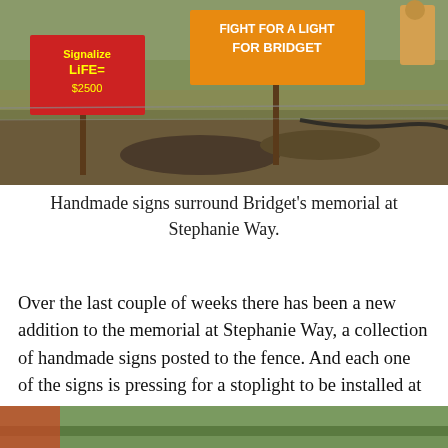[Figure (photo): Outdoor hillside scene with handmade signs posted to a fence. A red sign on the left reads 'Signalize Life = $2500' and an orange/yellow sign in the center reads 'Fight For A Light For Bridget'. Dry grass and gravel ground visible in background.]
Handmade signs surround Bridget’s memorial at Stephanie Way.
Over the last couple of weeks there has been a new addition to the memorial at Stephanie Way, a collection of handmade signs posted to the fence. And each one of the signs is pressing for a stoplight to be installed at the intersection.
[Figure (photo): Partial view of a second outdoor photo at the bottom of the page, showing a landscape scene.]